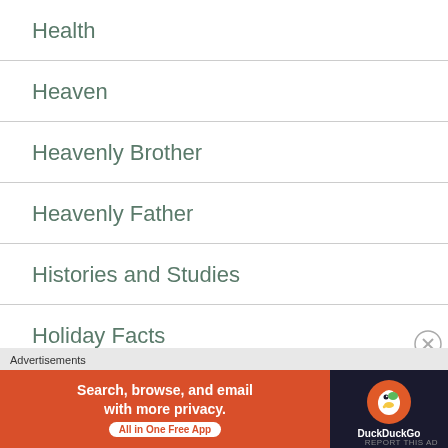Health
Heaven
Heavenly Brother
Heavenly Father
Histories and Studies
Holiday Facts
Holidays and Seasons
Advertisements
[Figure (screenshot): DuckDuckGo advertisement banner: orange section reads 'Search, browse, and email with more privacy. All in One Free App' and dark section shows DuckDuckGo logo]